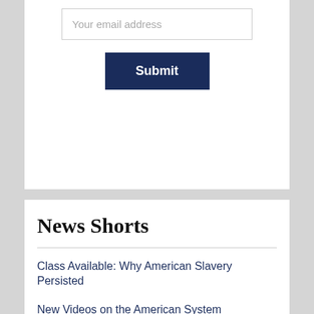Your email address
Submit
News Shorts
Class Available: Why American Slavery Persisted
New Videos on the American System
A New Video on Alexander Hamilton
The Economic Genius of Alexander Hamilton
Class Series Now on You Tube